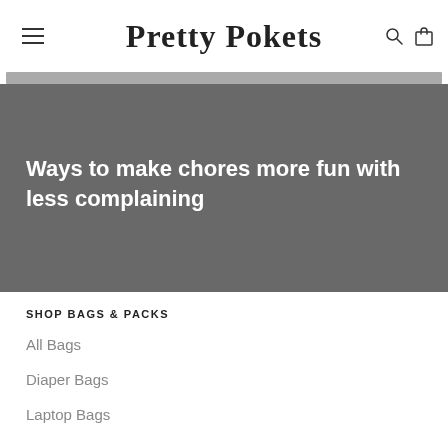Pretty Pokets
Ways to make chores more fun with less complaining
SHOP BAGS & PACKS
All Bags
Diaper Bags
Laptop Bags